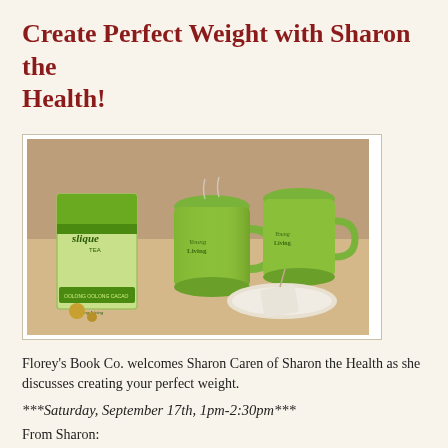Create Perfect Weight with Sharon the Health!
[Figure (photo): Product photo showing a box of Slique Tea (Young Living brand, Oolong Cacao flavor) next to two green Young Living branded mugs and a tea bag on a saucer, on a light wooden surface.]
Florey's Book Co. welcomes Sharon Caren of Sharon the Health as she discusses creating your perfect weight.
***Saturday, September 17th, 1pm-2:30pm***
From Sharon:
How would you like to find a naturally healthy weight